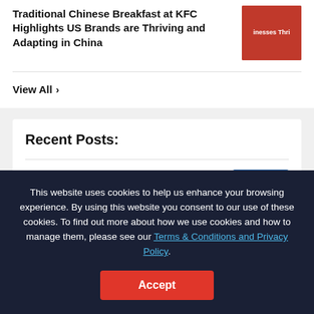Traditional Chinese Breakfast at KFC Highlights US Brands are Thriving and Adapting in China
View All ›
Recent Posts:
Alibaba Partners With Tik Tok, EV
This website uses cookies to help us enhance your browsing experience. By using this website you consent to our use of these cookies. To find out more about how we use cookies and how to manage them, please see our Terms & Conditions and Privacy Policy.
Accept